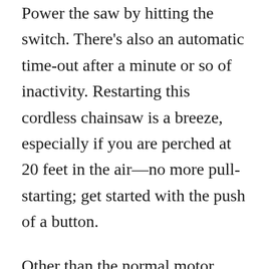Power the saw by hitting the switch. There's also an automatic time-out after a minute or so of inactivity. Restarting this cordless chainsaw is a breeze, especially if you are perched at 20 feet in the air—no more pull-starting; get started with the push of a button.
Other than the normal motor whine, the noise is impressively low, making it a great option if you live in a busy neighborhood. This saw's steel .043 gauge Oregon blade and chain provide more cutting power with less motor strain. This also allows for less hassle in cutting larger-